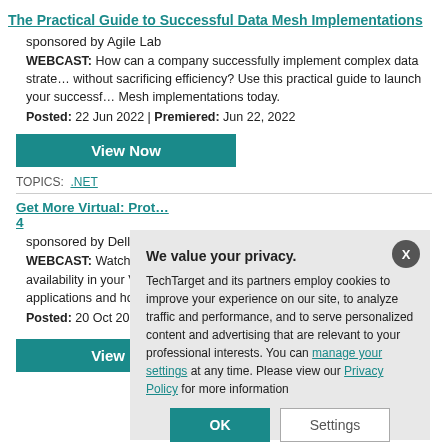The Practical Guide to Successful Data Mesh Implementations
sponsored by Agile Lab
WEBCAST: How can a company successfully implement complex data strategies without sacrificing efficiency? Use this practical guide to launch your successful Data Mesh implementations today.
Posted: 22 Jun 2022 | Premiered: Jun 22, 2022
[Figure (other): View Now button (teal background)]
TOPICS: .NET
Get More Virtual: Prot... 4
sponsored by DellEM...
WEBCAST: Watch t... availability in your V... applications and ho...
Posted: 20 Oct 200...
[Figure (other): View Now button (teal background)]
We value your privacy. TechTarget and its partners employ cookies to improve your experience on our site, to analyze traffic and performance, and to serve personalized content and advertising that are relevant to your professional interests. You can manage your settings at any time. Please view our Privacy Policy for more information